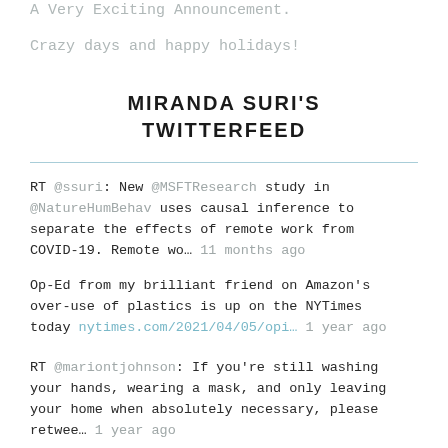A Very Exciting Announcement.
Crazy days and happy holidays!
MIRANDA SURI'S TWITTERFEED
RT @ssuri: New @MSFTResearch study in @NatureHumBehav uses causal inference to separate the effects of remote work from COVID-19. Remote wo… 11 months ago
Op-Ed from my brilliant friend on Amazon's over-use of plastics is up on the NYTimes today nytimes.com/2021/04/05/opi… 1 year ago
RT @mariontjohnson: If you're still washing your hands, wearing a mask, and only leaving your home when absolutely necessary, please retwee… 1 year ago